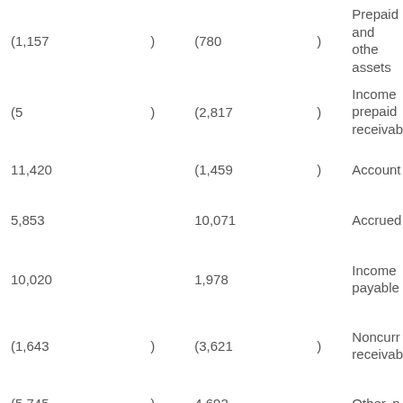| Value1 | Paren1 | Value2 | Paren2 | Label |
| --- | --- | --- | --- | --- |
| (1,157 | ) | (780 | ) | Prepaid and other assets |
| (5 | ) | (2,817 | ) | Income prepaid receivable |
| 11,420 |  | (1,459 | ) | Accounts |
| 5,853 |  | 10,071 |  | Accrued |
| 10,020 |  | 1,978 |  | Income payable |
| (1,643 | ) | (3,621 | ) | Noncurrent receivable |
| (5,745 | ) | 4,692 |  | Other, n |
|  |  |  |  | Net cash |